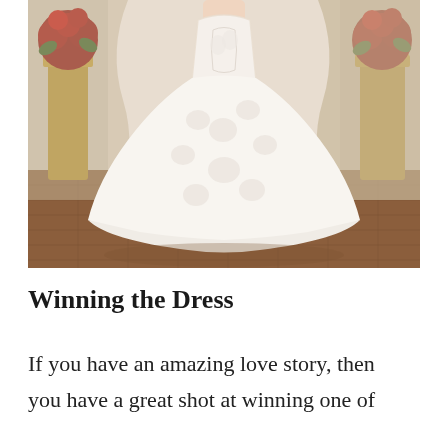[Figure (photo): A bride wearing a white lace mermaid/trumpet style wedding gown standing in an ornate room with dark wood floors, gold decorative urns filled with red roses, and classical architectural elements in the background.]
Winning the Dress
If you have an amazing love story, then you have a great shot at winning one of